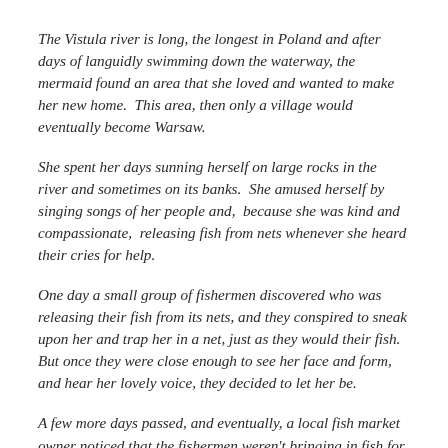The Vistula river is long, the longest in Poland and after days of languidly swimming down the waterway, the mermaid found an area that she loved and wanted to make her new home.  This area, then only a village would eventually become Warsaw.
She spent her days sunning herself on large rocks in the river and sometimes on its banks.  She amused herself by singing songs of her people and,  because she was kind and compassionate,  releasing fish from nets whenever she heard their cries for help.
One day a small group of fishermen discovered who was releasing their fish from its nets, and they conspired to sneak upon her and trap her in a net, just as they would their fish.  But once they were close enough to see her face and form, and hear her lovely voice, they decided to let her be.
A few more days passed, and eventually, a local fish market owner noticed that the fishermen weren't bringing in fish for him to sell.